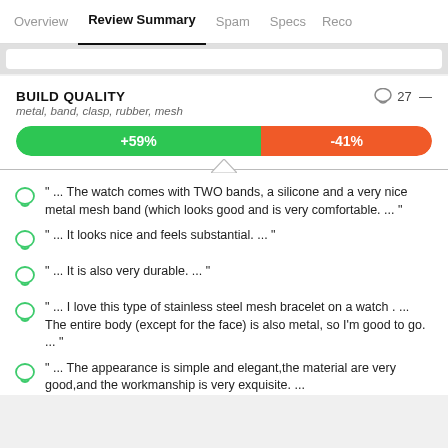Overview  Review Summary  Spam  Specs  Reco
BUILD QUALITY
metal, band, clasp, rubber, mesh
[Figure (bar-chart): Build Quality Sentiment]
" ...  The watch comes with TWO bands, a silicone and a very nice metal mesh band (which looks good and is very comfortable.  ...  "
" ...  It looks nice and feels substantial.  ...  "
" ...  It is also very durable.  ...  "
" ...  I love this type of stainless steel mesh bracelet on a watch . ...  The entire body (except for the face) is also metal, so I'm good to go.  ...  "
" ...  The appearance is simple and elegant,the material are very good,and the workmanship is very exquisite.  ...